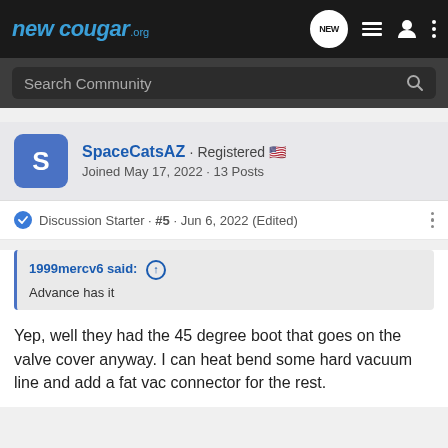newcougar.org
Search Community
SpaceCatsAZ · Registered  · Joined May 17, 2022 · 13 Posts
Discussion Starter · #5 · Jun 6, 2022 (Edited)
1999mercv6 said: ↑
Advance has it
Yep, well they had the 45 degree boot that goes on the valve cover anyway. I can heat bend some hard vacuum line and add a fat vac connector for the rest.